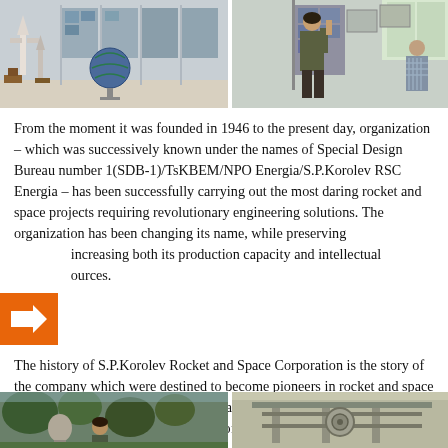[Figure (photo): Exhibition hall showing space shuttle model, rocket models, and a globe on display stands]
[Figure (photo): Person examining display panels at a space exhibition, with framed photographs on the wall]
From the moment it was founded in 1946 to the present day, organization – which was successively known under the names of Special Design Bureau number 1(SDB-1)/TsKBEM/NPO Energia/S.P.Korolev RSC Energia – has been successfully carrying out the most daring rocket and space projects requiring revolutionary engineering solutions. The organization has been changing its name, while preserving increasing both its production capacity and intellectual resources.
The history of S.P.Korolev Rocket and Space Corporation is the story of the company which were destined to become pioneers in rocket and space technology, and for many decades retain a leading position in the most advanced and science-intensive area of human endeavor in the twentieth century – the space science.
[Figure (photo): Outdoor scene with trees and a person, possibly at a memorial or monument]
[Figure (photo): Close-up of mechanical or engineering equipment]